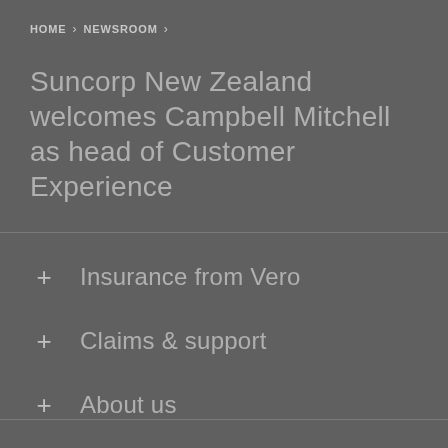HOME > NEWSROOM >
Suncorp New Zealand welcomes Campbell Mitchell as head of Customer Experience
+ Insurance from Vero
+ Claims & support
+ About us